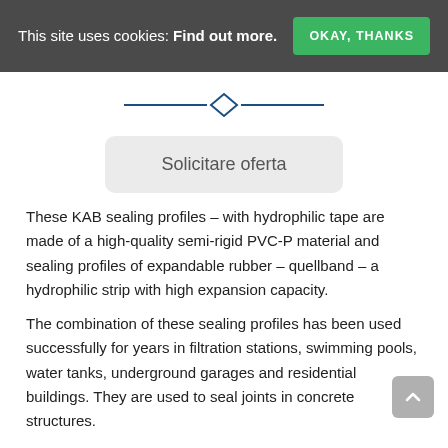This site uses cookies: Find out more.
[Figure (other): Blue horizontal line with diamond shape in center, decorative divider]
Solicitare oferta
These KAB sealing profiles – with hydrophilic tape are made of a high-quality semi-rigid PVC-P material and sealing profiles of expandable rubber – quellband – a hydrophilic strip with high expansion capacity.
The combination of these sealing profiles has been used successfully for years in filtration stations, swimming pools, water tanks, underground garages and residential buildings. They are used to seal joints in concrete structures.